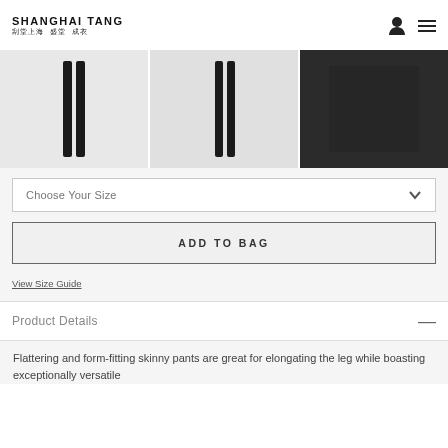SHANGHAI TANG
[Figure (photo): Three product images of black skinny pants: front view, front view with slight variation, and close-up fabric detail]
Choose Your Size
ADD TO BAG
View Size Guide
Product Details
Flattering and form-fitting skinny pants are great for elongating the leg while boasting exceptionally versatile